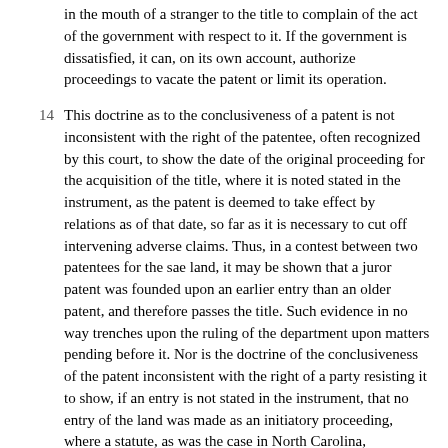in the mouth of a stranger to the title to complain of the act of the government with respect to it. If the government is dissatisfied, it can, on its own account, authorize proceedings to vacate the patent or limit its operation.
14  This doctrine as to the conclusiveness of a patent is not inconsistent with the right of the patentee, often recognized by this court, to show the date of the original proceeding for the acquisition of the title, where it is noted stated in the instrument, as the patent is deemed to take effect by relations as of that date, so far as it is necessary to cut off intervening adverse claims. Thus, in a contest between two patentees for the sae land, it may be shown that a juror patent was founded upon an earlier entry than an older patent, and therefore passes the title. Such evidence in no way trenches upon the ruling of the department upon matters pending before it. Nor is the doctrine of the conclusiveness of the patent inconsistent with the right of a party resisting it to show, if an entry is not stated in the instrument, that no entry of the land was made as an initiatory proceeding, where a statute, as was the case in North Carolina, mentioned in Polk's Lessee v. Wendell, declares that proceedings for the title, when such entry has not been made, shall be adjudged invalid. A statute may in any case require proof of a fact which otherwise would be presumed. Except with reference to such anterior matters and others of like